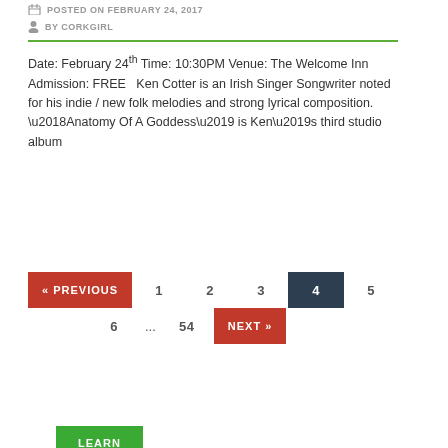POSTED ON FEBRUARY 24, 2017
BY CORKGIRL
Date: February 24th Time: 10:30PM Venue: The Welcome Inn Admission: FREE   Ken Cotter is an Irish Singer Songwriter noted for his indie / new folk melodies and strong lyrical composition. ‘Anatomy Of A Goddess’ is Ken’s third studio album
LEARN MORE
« PREVIOUS  1  2  3  4  5  6  …  54  NEXT »